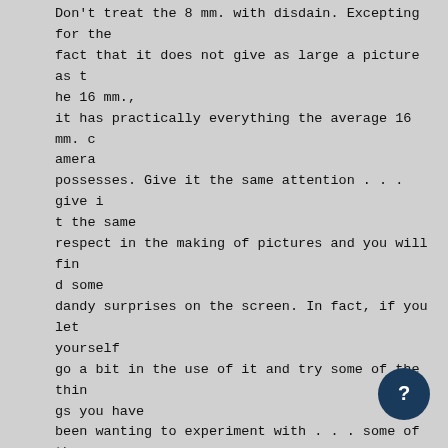Don't treat the 8 mm. with disdain. Excepting for the fact that it does not give as large a picture as the 16 mm., it has practically everything the average 16 mm. camera possesses. Give it the same attention . . . give it the same respect in the making of pictures and you will find some dandy surprises on the screen. In fact, if you let yourself go a bit in the use of it and try some of the things you have been wanting to experiment with . . . some of the things you would like to do if you had the nerve, you are going to convince yourself you are a great deal better photographer than you believe you are.

I have tried imitating the professional with you know, shooting up at a tall building, getting that